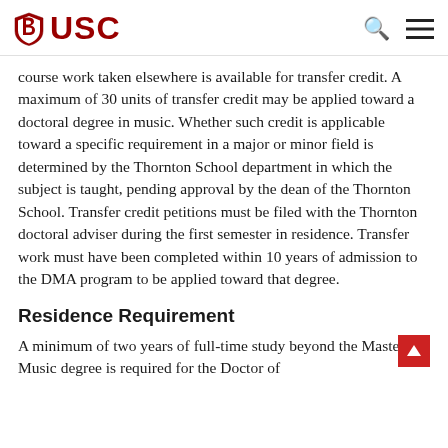USC
course work taken elsewhere is available for transfer credit. A maximum of 30 units of transfer credit may be applied toward a doctoral degree in music. Whether such credit is applicable toward a specific requirement in a major or minor field is determined by the Thornton School department in which the subject is taught, pending approval by the dean of the Thornton School. Transfer credit petitions must be filed with the Thornton doctoral adviser during the first semester in residence. Transfer work must have been completed within 10 years of admission to the DMA program to be applied toward that degree.
Residence Requirement
A minimum of two years of full-time study beyond the Master of Music degree is required for the Doctor of